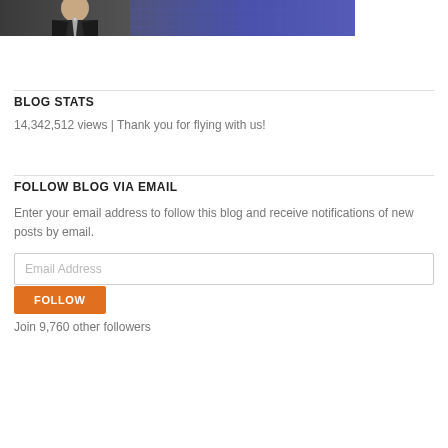[Figure (photo): Partial photo of a man in a suit and tie against a blue/purple background, cropped at bottom]
BLOG STATS
14,342,512 views | Thank you for flying with us!
FOLLOW BLOG VIA EMAIL
Enter your email address to follow this blog and receive notifications of new posts by email.
Email Address
FOLLOW
Join 9,760 other followers